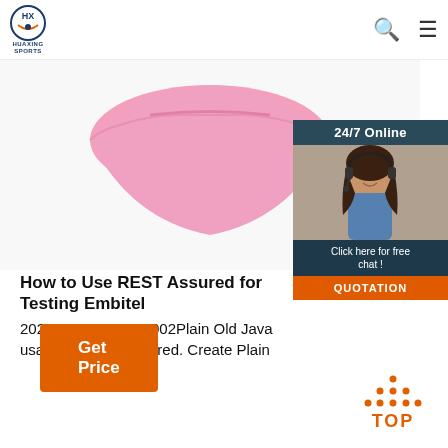HUAXING SPORTS
[Figure (photo): Pink underwear/shorts product photo on white background]
[Figure (photo): 24/7 Online chat ad with woman wearing headset, dark background, Click here for free chat!, QUOTATION button]
How to Use REST Assured for Testing Embitel
2020-7-24u2002·u2002Plain Old Java usage in REST Assured. Create Plain Old Objects (POJOs) that represent the A POJOs can be used for both serialization serialization. We can use Lombok to cr POJOs (we can utilise @Getter/@Sett annotations to ...
Get Price
[Figure (infographic): TOP button with orange upward-pointing triangle/arrow icon]